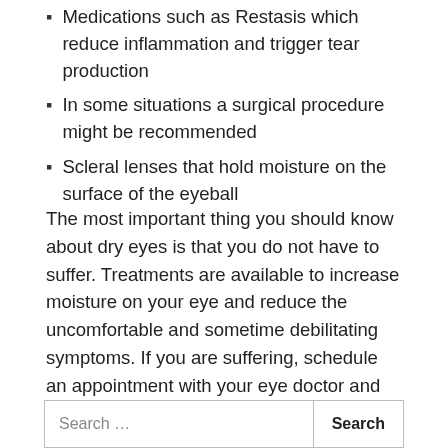Medications such as Restasis which reduce inflammation and trigger tear production
In some situations a surgical procedure might be recommended
Scleral lenses that hold moisture on the surface of the eyeball
The most important thing you should know about dry eyes is that you do not have to suffer. Treatments are available to increase moisture on your eye and reduce the uncomfortable and sometime debilitating symptoms. If you are suffering, schedule an appointment with your eye doctor and get the relief you deserve.
Search ...